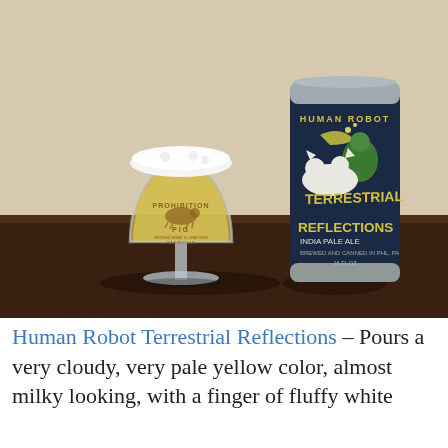[Figure (photo): A photo of a glass of pale yellow cloudy beer in a Prohibition Pig branded snifter glass next to a tall can of Human Robot Terrestrial Reflections India Pale Ale, both sitting on a dark wooden surface.]
Human Robot Terrestrial Reflections – Pours a very cloudy, very pale yellow color, almost milky looking, with a finger of fluffy white